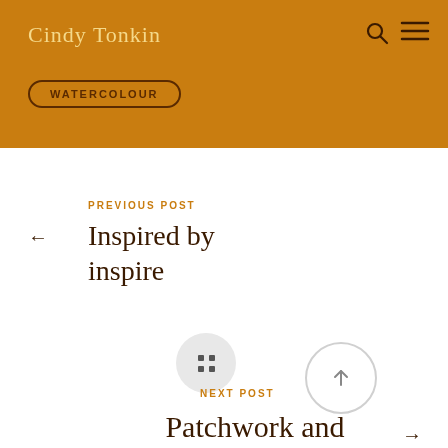Cindy Tonkin
WATERCOLOUR
PREVIOUS POST
Inspired by inspire
NEXT POST
Patchwork and Stories: my exhibition